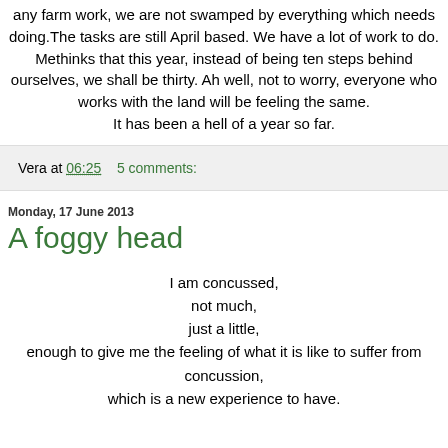any farm work, we are not swamped by everything which needs doing. The tasks are still April based. We have a lot of work to do. Methinks that this year, instead of being ten steps behind ourselves, we shall be thirty. Ah well, not to worry, everyone who works with the land will be feeling the same.
It has been a hell of a year so far.
Vera at 06:25    5 comments:
Monday, 17 June 2013
A foggy head
I am concussed,
not much,
just a little,
enough to give me the feeling of what it is like to suffer from concussion,
which is a new experience to have.